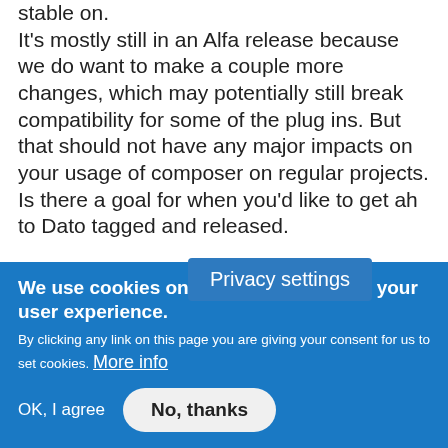stable on. It's mostly still in an Alfa release because we do want to make a couple more changes, which may potentially still break compatibility for some of the plug ins. But that should not have any major impacts on your usage of composer on regular projects. Is there a goal for when you'd like to get ah to Dato tagged and released.
[25:31] I don't think we have a particular timeframe in mind. I'm pretty sure it's gonna happen this year at some point still, but it very much depen ow many
[Figure (screenshot): Privacy settings tooltip overlay button in blue]
We use cookies on this site to enhance your user experience. By clicking any link on this page you are giving your consent for us to set cookies. More info
OK, I agree   No, thanks